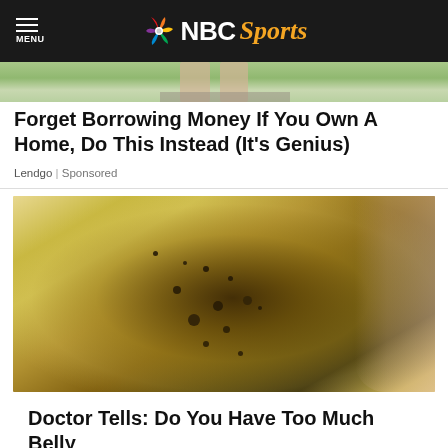MENU | NBC Sports
[Figure (photo): Top cropped image showing legs of a person standing on a paved/stone surface with green grass in background]
Forget Borrowing Money If You Own A Home, Do This Instead (It's Genius)
Lendgo | Sponsored
[Figure (photo): Close-up photo of a hand with manicured nails holding a translucent yellowish strip or film covered with dark brown/olive speckled particles, possibly a food or health product]
Doctor Tells: Do You Have Too Much Belly